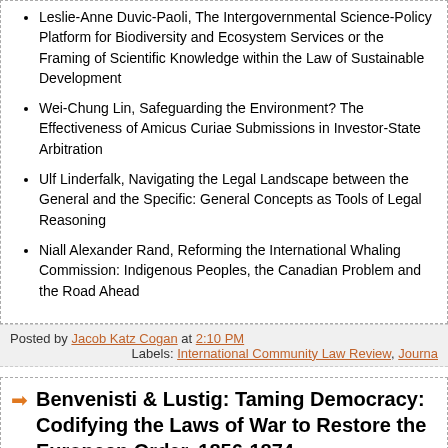Leslie-Anne Duvic-Paoli, The Intergovernmental Science-Policy Platform for Biodiversity and Ecosystem Services or the Framing of Scientific Knowledge within the Law of Sustainable Development
Wei-Chung Lin, Safeguarding the Environment? The Effectiveness of Amicus Curiae Submissions in Investor-State Arbitration
Ulf Linderfalk, Navigating the Legal Landscape between the General and the Specific: General Concepts as Tools of Legal Reasoning
Niall Alexander Rand, Reforming the International Whaling Commission: Indigenous Peoples, the Canadian Problem and the Road Ahead
Posted by Jacob Katz Cogan at 2:10 PM
Labels: International Community Law Review, Journa
Benvenisti & Lustig: Taming Democracy: Codifying the Laws of War to Restore the European Order, 1856-1874
Eyal Benvenisti (Univ. of Cambridge - Law) & Doreen Lustig (Tel Aviv Univ. - Law) have posted Taming Democracy: Codifying the Laws of War to Restore the European Order, 1856-1874. Here's the abstract: